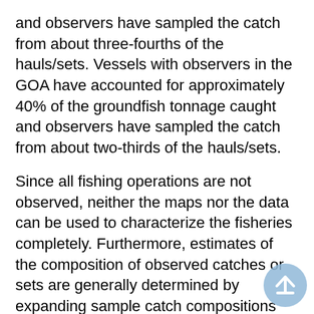and observers have sampled the catch from about three-fourths of the hauls/sets. Vessels with observers in the GOA have accounted for approximately 40% of the groundfish tonnage caught and observers have sampled the catch from about two-thirds of the hauls/sets.
Since all fishing operations are not observed, neither the maps nor the data can be used to characterize the fisheries completely. Furthermore, estimates of the composition of observed catches or sets are generally determined by expanding sample catch compositions recorded by observers. These maps present aggregate catch composition only from observed hauls and sets and expanded as described above and will not always provide an accurate portrayal of catches of target and non-target species by the whole fleet. Inaccuracies will be greatest for rarely-occurring species and when sample sizes are relatively small. We caution users about making simple expansions from these data because of the complexity of